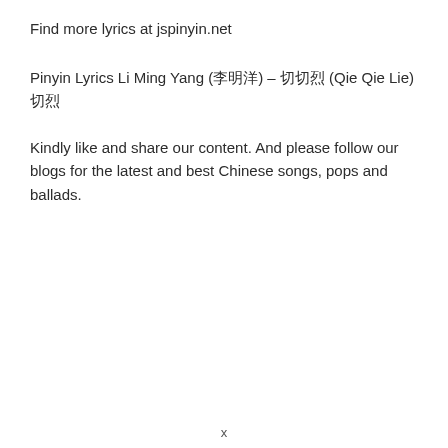Find more lyrics at jspinyin.net
Pinyin Lyrics Li Ming Yang (李明洋) – 切切烈 (Qie Qie Lie) 切烈
Kindly like and share our content. And please follow our blogs for the latest and best Chinese songs, pops and ballads.